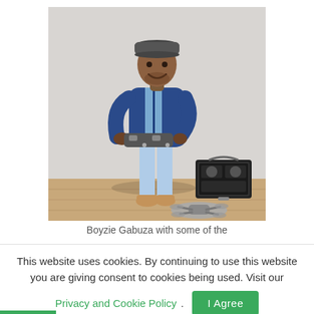[Figure (photo): A man (Boyzie Gabuza) standing and smiling, wearing a blue jacket, light blue jeans, and tan boots, holding a drone controller. Next to him is an open hard-shell equipment case on the floor, with a drone on the ground in front of him. Background is a white/grey wall and wooden floor.]
Boyzie Gabuza with some of the
This website uses cookies. By continuing to use this website you are giving consent to cookies being used. Visit our Privacy and Cookie Policy. I Agree